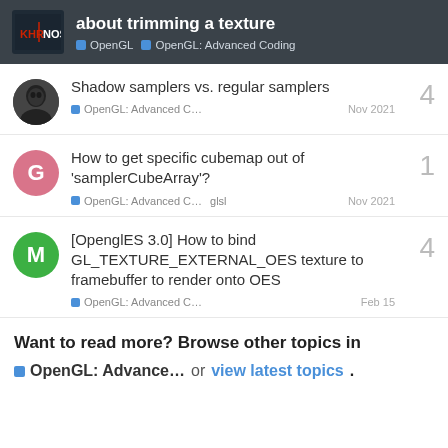about trimming a texture | OpenGL | OpenGL: Advanced Coding
Shadow samplers vs. regular samplers | OpenGL: Advanced C… | Nov 2021 | 4 replies
How to get specific cubemap out of 'samplerCubeArray'? | OpenGL: Advanced C… | glsl | Nov 2021 | 1 reply
[OpenglES 3.0] How to bind GL_TEXTURE_EXTERNAL_OES texture to framebuffer to render onto OES | OpenGL: Advanced C… | Feb 15 | 4 replies
Want to read more? Browse other topics in OpenGL: Advance… or view latest topics.